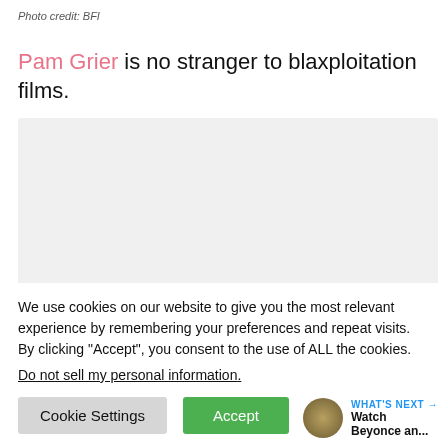Photo credit: BFI
Pam Grier is no stranger to blaxploitation films.
[Figure (photo): A photo placeholder image (gray box)]
We use cookies on our website to give you the most relevant experience by remembering your preferences and repeat visits. By clicking “Accept”, you consent to the use of ALL the cookies.
Do not sell my personal information.